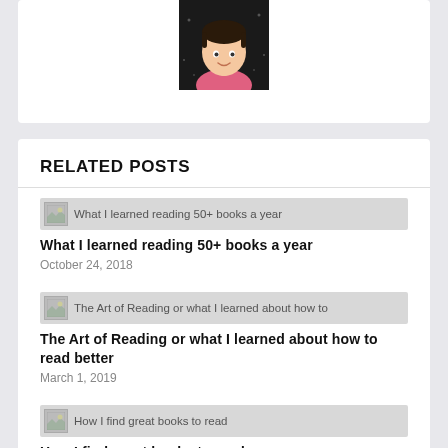[Figure (illustration): Avatar illustration of a person in a pink shirt against a dark background, partially visible at the top of the page]
RELATED POSTS
[Figure (photo): Thumbnail image placeholder for 'What I learned reading 50+ books a year']
What I learned reading 50+ books a year
October 24, 2018
[Figure (photo): Thumbnail image placeholder for 'The Art of Reading or what I learned about how to read better']
The Art of Reading or what I learned about how to read better
March 1, 2019
[Figure (photo): Thumbnail image placeholder for 'How I find great books to read']
How I find great books to read
March 10, 2019